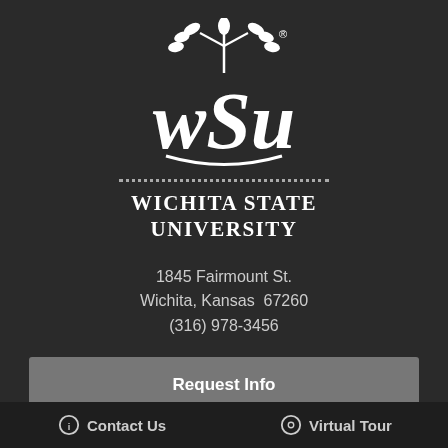[Figure (logo): Wichita State University WSU logo in white on dark background, with wheat stalk above stylized WSU letters]
Wichita State University
1845 Fairmount St.
Wichita, Kansas  67260
(316) 978-3456
Request Info
Visit
Apply
Contact Us   Virtual Tour